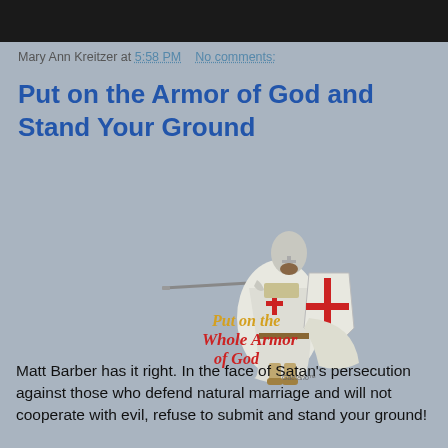Mary Ann Kreitzer at 5:58 PM   No comments:
Put on the Armor of God and Stand Your Ground
[Figure (illustration): Illustration of a medieval Crusader knight in white robes with red crosses on chest and shield, holding a sword, with text overlay reading 'Put on the Whole Armor of God' in yellow and red stylized lettering. A signature/watermark is visible at the bottom right of the illustration.]
Matt Barber has it right. In the face of Satan's persecution against those who defend natural marriage and will not cooperate with evil, refuse to submit and stand your ground!